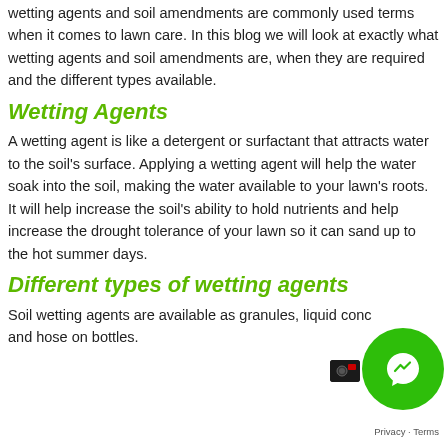wetting agents and soil amendments are commonly used terms when it comes to lawn care. In this blog we will look at exactly what wetting agents and soil amendments are, when they are required and the different types available.
Wetting Agents
A wetting agent is like a detergent or surfactant that attracts water to the soil's surface. Applying a wetting agent will help the water soak into the soil, making the water available to your lawn's roots. It will help increase the soil's ability to hold nutrients and help increase the drought tolerance of your lawn so it can sand up to the hot summer days.
Different types of wetting agents
Soil wetting agents are available as granules, liquid conc and hose on bottles.